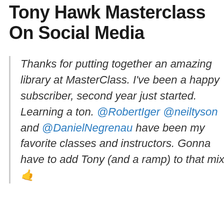Tony Hawk Masterclass On Social Media
Thanks for putting together an amazing library at MasterClass. I've been a happy subscriber, second year just started. Learning a ton. @RobertIger @neiltyson and @DanielNegrenau have been my favorite classes and instructors. Gonna have to add Tony (and a ramp) to that mix 🤙